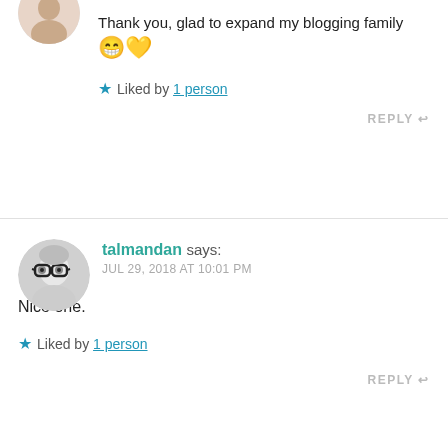Thank you, glad to expand my blogging family 😁💛
★ Liked by 1 person
REPLY ↩
talmandan says: JUL 29, 2018 AT 10:01 PM
Nice one.
★ Liked by 1 person
REPLY ↩